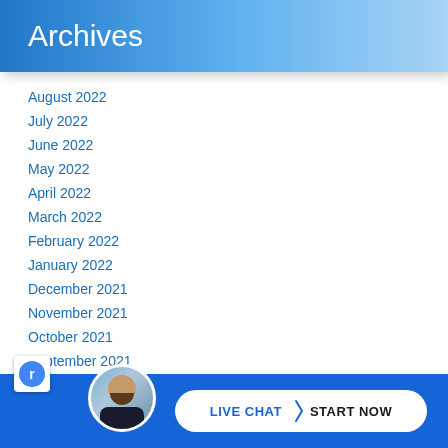Archives
August 2022
July 2022
June 2022
May 2022
April 2022
March 2022
February 2022
January 2022
December 2021
November 2021
October 2021
September 2021
August 2021
July 2021
June 2021
[Figure (infographic): Live chat start now button with agent avatar at the bottom of the page on a blue bar]